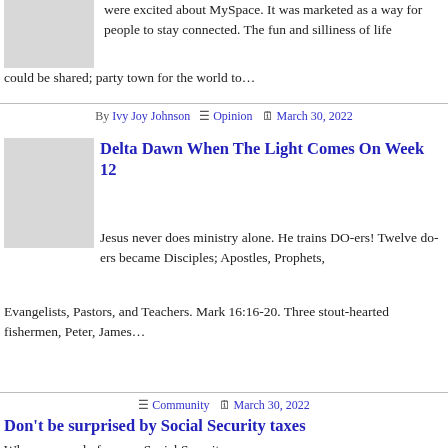[Figure (photo): Thumbnail image placeholder (gray box) for first article]
were excited about MySpace. It was marketed as a way for people to stay connected. The fun and silliness of life could be shared; party town for the world to…
By Ivy Joy Johnson  ☰ Opinion  🗓 March 30, 2022
[Figure (photo): Thumbnail image placeholder (gray box) for Delta Dawn article]
Delta Dawn When The Light Comes On Week 12
Jesus never does ministry alone. He trains DO-ers! Twelve do-ers became Disciples; Apostles, Prophets, Evangelists, Pastors, and Teachers. Mark 16:16-20. Three stout-hearted fishermen, Peter, James…
☰ Community  🗓 March 30, 2022
Don't be surprised by Social Security taxes
When you apply for your Social Security